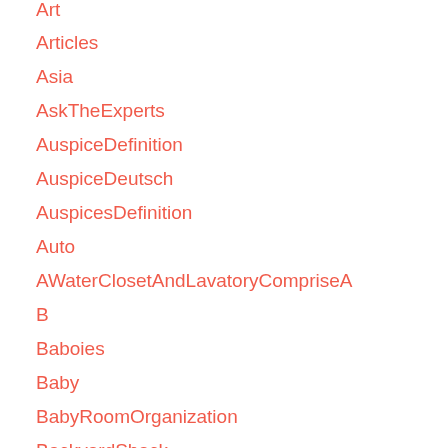Art
Articles
Asia
AskTheExperts
AuspiceDefinition
AuspiceDeutsch
AuspicesDefinition
Auto
AWaterClosetAndLavatoryCompriseA
B
Baboies
Baby
BabyRoomOrganization
BackyardShack
backyardshed